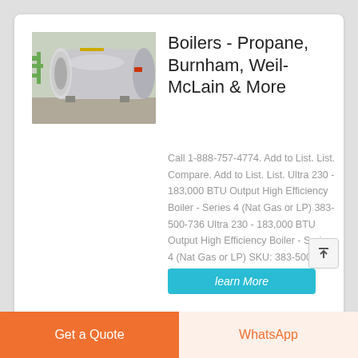[Figure (photo): Industrial propane boiler unit, cylindrical silver/metal tank with pipes, installed in a facility]
Boilers - Propane, Burnham, Weil-McLain & More
Call 1-888-757-4774. Add to List. List. Compare. Add to List. List. Ultra 230 - 183,000 BTU Output High Efficiency Boiler - Series 4 (Nat Gas or LP) 383-500-736 Ultra 230 - 183,000 BTU Output High Efficiency Boiler - Series 4 (Nat Gas or LP) SKU: 383-500-736 Weil-McLain.
learn More
Get a Quote
WhatsApp